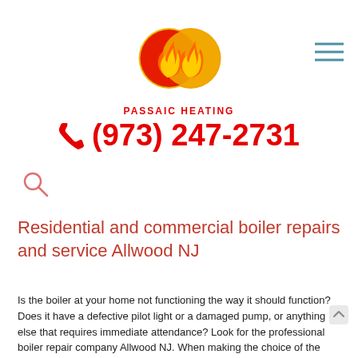[Figure (logo): Passaic Heating logo with two flame circles (red/orange) and text 'PASSAIC HEATING' in red below]
[Figure (other): Hamburger menu icon (three horizontal lines in blue/teal)]
☎ (973) 247-2731
[Figure (other): Search magnifying glass icon in salmon/red outline]
Residential and commercial boiler repairs and service Allwood NJ
Is the boiler at your home not functioning the way it should function? Does it have a defective pilot light or a damaged pump, or anything else that requires immediate attendance? Look for the professional boiler repair company Allwood NJ. When making the choice of the boiler repair service, it is very necessary that you give a serious look to the following points:
The boiler repair company should offer efficient bespoke service.